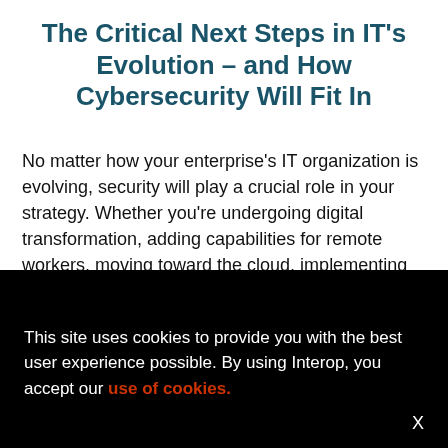The Critical Next Steps in IT's Evolution – and How Cybersecurity Will Fit In
No matter how your enterprise's IT organization is evolving, security will play a crucial role in your strategy. Whether you're undergoing digital transformation, adding capabilities for remote workers, moving toward the cloud, implementing 5G networks, or taking a "Shift Left" approach to application development, you will need to make critical decisions about cybersecurity
This site uses cookies to provide you with the best user experience possible. By using Interop, you accept our use of cookies.